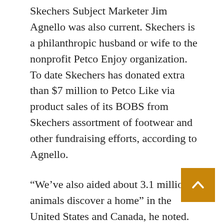Skechers Subject Marketer Jim Agnello was also current. Skechers is a philanthropic husband or wife to the nonprofit Petco Enjoy organization. To date Skechers has donated extra than $7 million to Petco Like via product sales of its BOBS from Skechers assortment of footwear and other fundraising efforts, according to Agnello.
“We’ve also aided about 3.1 million animals discover a home” in the United States and Canada, he noted. “We’re extremely psyched to be right here. The stories are really inspiring.”
Fontaine opened the Brookfield occasion by mentioning that the Love Tales program has acquired above 20,000 submissions to day. She and the many others, she explained, turning to Hubbard, “are so extremely fir… to rejoice these really hard-doing work companies like yours.”